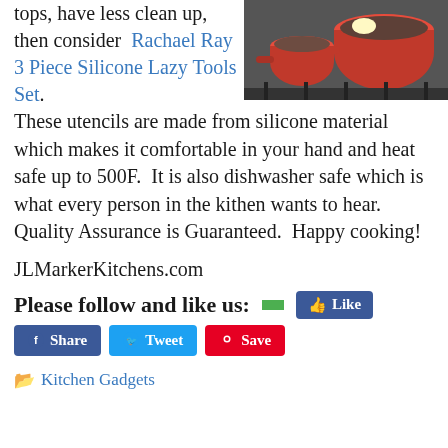tops, have less clean up, then consider Rachael Ray 3 Piece Silicone Lazy Tools Set. These utensils are made from silicone material which makes it comfortable in your hand and heat safe up to 500F. It is also dishwasher safe which is what every person in the kithen wants to hear. Quality Assurance is Guaranteed. Happy cooking!
[Figure (photo): Red cookware pots on a stove]
JLMarkerKitchens.com
Please follow and like us:
Kitchen Gadgets